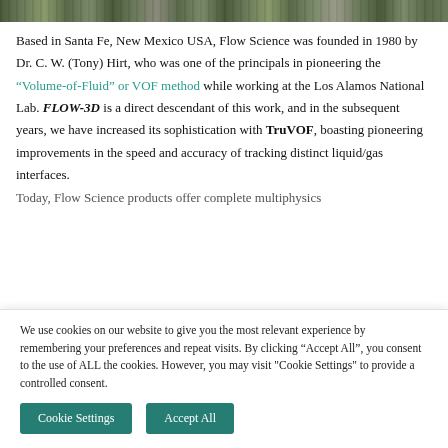[Figure (photo): Partial group photo of people outdoors, cropped at top of page]
Based in Santa Fe, New Mexico USA, Flow Science was founded in 1980 by Dr. C. W. (Tony) Hirt, who was one of the principals in pioneering the "Volume-of-Fluid" or VOF method while working at the Los Alamos National Lab. FLOW-3D is a direct descendant of this work, and in the subsequent years, we have increased its sophistication with TruVOF, boasting pioneering improvements in the speed and accuracy of tracking distinct liquid/gas interfaces. Today, Flow Science products offer complete multiphysics…
We use cookies on our website to give you the most relevant experience by remembering your preferences and repeat visits. By clicking “Accept All”, you consent to the use of ALL the cookies. However, you may visit "Cookie Settings" to provide a controlled consent.